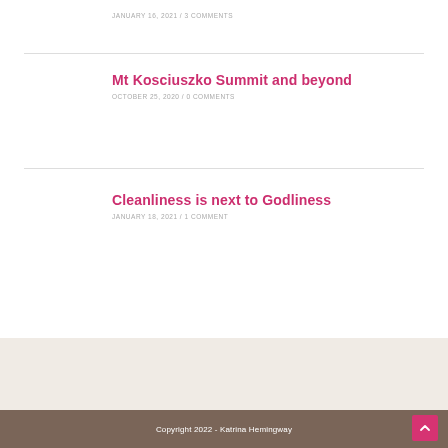JANUARY 16, 2021 / 3 COMMENTS
Mt Kosciuszko Summit and beyond
OCTOBER 25, 2020 / 0 COMMENTS
Cleanliness is next to Godliness
JANUARY 18, 2021 / 1 COMMENT
Copyright 2022 - Katrina Hemingway